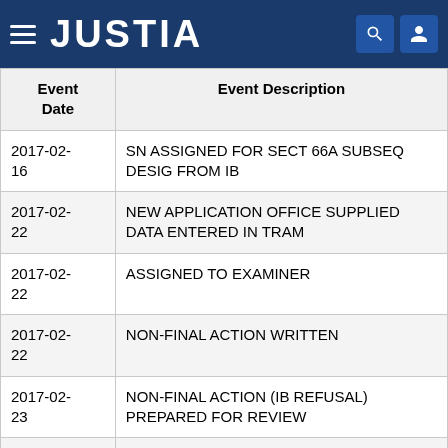JUSTIA
| Event Date | Event Description |
| --- | --- |
| 2017-02-16 | SN ASSIGNED FOR SECT 66A SUBSEQ DESIG FROM IB |
| 2017-02-22 | NEW APPLICATION OFFICE SUPPLIED DATA ENTERED IN TRAM |
| 2017-02-22 | ASSIGNED TO EXAMINER |
| 2017-02-22 | NON-FINAL ACTION WRITTEN |
| 2017-02-23 | NON-FINAL ACTION (IB REFUSAL) PREPARED FOR REVIEW |
| 2017-02-23 | REFUSAL PROCESSED BY MPU |